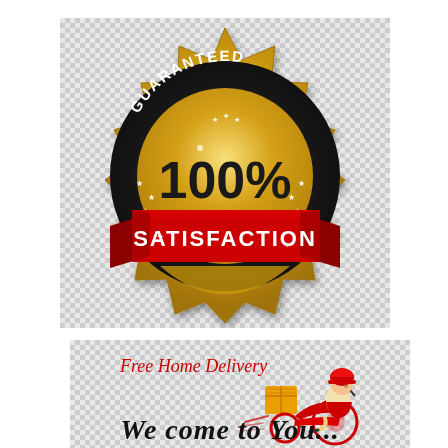[Figure (illustration): Gold sunburst badge with dark circular ring reading 'GUARANTEED' at top and stars. Center gold circle displays '100%'. Red ribbon banner across middle reads 'SATISFACTION' in white bold text. Checkered transparency background.]
[Figure (illustration): Food delivery person on red scooter with red delivery box on front, wearing red helmet. Red cursive text reads 'Free Home Delivery'. Cursive text at bottom reads 'Welcome to You...' in dark ink. Checkered transparency background.]